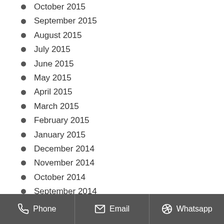October 2015
September 2015
August 2015
July 2015
June 2015
May 2015
April 2015
March 2015
February 2015
January 2015
December 2014
November 2014
October 2014
September 2014
August 2014
July 2014
Phone   Email   Whatsapp